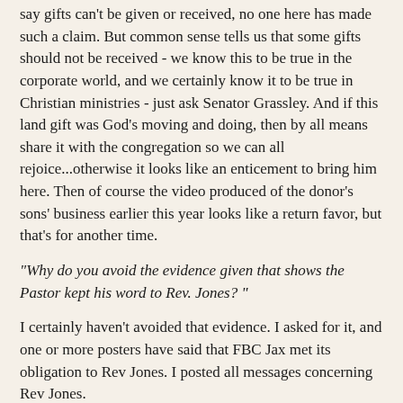say gifts can't be given or received, no one here has made such a claim. But common sense tells us that some gifts should not be received - we know this to be true in the corporate world, and we certainly know it to be true in Christian ministries - just ask Senator Grassley. And if this land gift was God's moving and doing, then by all means share it with the congregation so we can all rejoice...otherwise it looks like an enticement to bring him here. Then of course the video produced of the donor's sons' business earlier this year looks like a return favor, but that's for another time.
"Why do you avoid the evidence given that shows the Pastor kept his word to Rev. Jones? "
I certainly haven't avoided that evidence. I asked for it, and one or more posters have said that FBC Jax met its obligation to Rev Jones. I posted all messages concerning Rev Jones.
"When someone does sign his name, he is immediately attacked and ridiculed. "
Lie. Issues are discussed here. If you can't stand to have your ideas